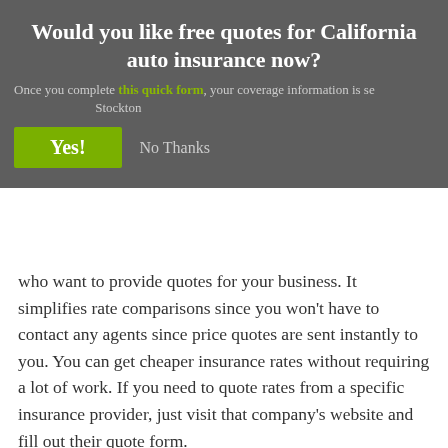Would you like free quotes for California auto insurance now?
Once you complete this quick form, your coverage information is sent to companies in Stockton who want to provide quotes for your business. It simplifies rate comparisons since you won't have to contact any agents since price quotes are sent instantly to you. You can get cheaper insurance rates without requiring a lot of work. If you need to quote rates from a specific insurance provider, just visit that company's website and fill out their quote form.
Finding the right provider requires you to look at more than just the bottom line cost. Here are some questions you might want to ask.